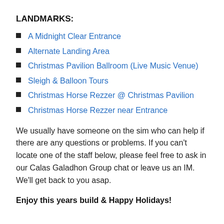LANDMARKS:
A Midnight Clear Entrance
Alternate Landing Area
Christmas Pavilion Ballroom (Live Music Venue)
Sleigh & Balloon Tours
Christmas Horse Rezzer @ Christmas Pavilion
Christmas Horse Rezzer near Entrance
We usually have someone on the sim who can help if there are any questions or problems. If you can't locate one of the staff below, please feel free to ask in our Calas Galadhon Group chat or leave us an IM. We'll get back to you asap.
Enjoy this years build & Happy Holidays!